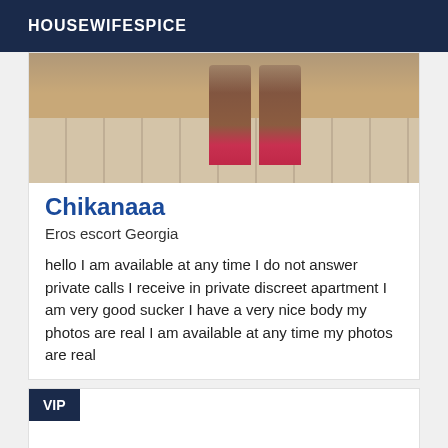HOUSEWIFESPICE
[Figure (photo): Photo of legs wearing pink high heels on tiled floor]
Chikanaaa
Eros escort Georgia
hello I am available at any time I do not answer private calls I receive in private discreet apartment I am very good sucker I have a very nice body my photos are real I am available at any time my photos are real
VIP